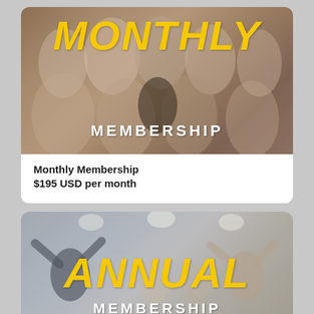[Figure (photo): Monthly Membership card with photo of smiling people at a yoga/fitness event, overlaid with bold yellow italic MONTHLY text and white MEMBERSHIP subtitle]
Monthly Membership
$195 USD per month
[Figure (photo): Annual Membership card with photo of people with arms raised at a fitness/yoga event, overlaid with bold yellow italic ANNUAL text and white MEMBERSHIP subtitle]